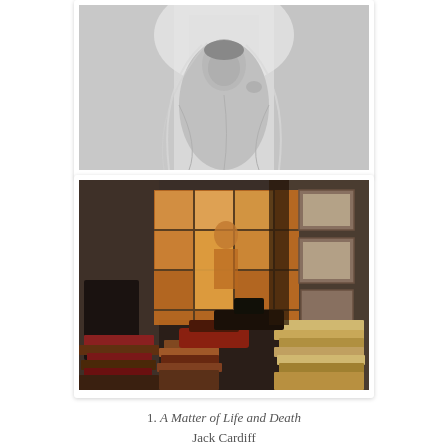[Figure (photo): Black and white film still of a woman in a white veil and draped dress, looking directly at the camera against a soft background.]
[Figure (photo): Color film still of a cluttered study room with stacks of books on the floor, a window with grid panes showing a figure outside, and framed pictures on the wall.]
1. A Matter of Life and Death Jack Cardiff